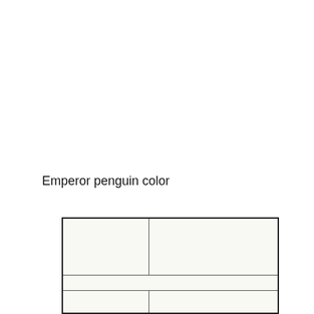Emperor penguin color
|  |  |
|  |  |
|  |  |